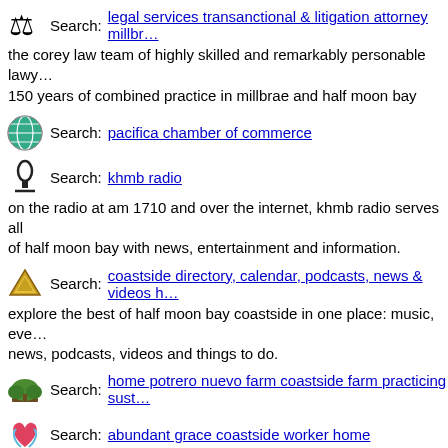Search: legal services transanctional & litigation attorney millbrae the corey law team of highly skilled and remarkably personable lawyers 150 years of combined practice in millbrae and half moon bay
Search: pacifica chamber of commerce
Search: khmb radio on the radio at am 1710 and over the internet, khmb radio serves all of half moon bay with news, entertainment and information.
Search: coastside directory, calendar, podcasts, news & videos explore the best of half moon bay coastside in one place: music, events, news, podcasts, videos and things to do.
Search: home potrero nuevo farm coastside farm practicing sust
Search: abundant grace coastside worker home abundant grace coastside worker serves the homeless and low-income in half moon bay, ca. we have an organic farm employment program, free breakfasts, women's leadership program and more.